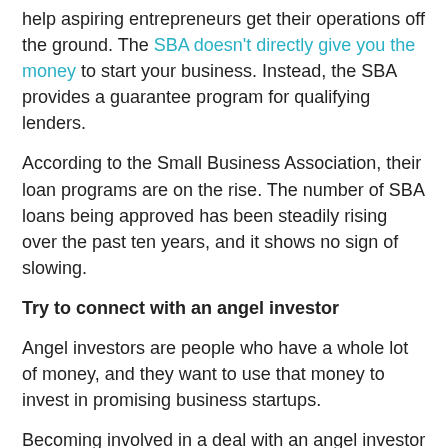help aspiring entrepreneurs get their operations off the ground. The SBA doesn't directly give you the money to start your business. Instead, the SBA provides a guarantee program for qualifying lenders.
According to the Small Business Association, their loan programs are on the rise. The number of SBA loans being approved has been steadily rising over the past ten years, and it shows no sign of slowing.
Try to connect with an angel investor
Angel investors are people who have a whole lot of money, and they want to use that money to invest in promising business startups.
Becoming involved in a deal with an angel investor usually means that you'll be sharing a portion of your profits with the investor. It may sound like a bad deal to give up some of your profits, but the partnership and assistance provided by an angel investor is worth the risk.